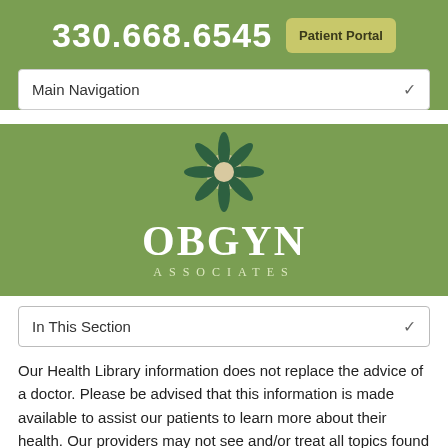330.668.6545
Patient Portal
Main Navigation
[Figure (logo): OBGYN Associates logo with a flower/star made of dark green petals on a cream background, with white text 'OBGYN' and smaller spaced text 'ASSOCIATES' below]
In This Section
Our Health Library information does not replace the advice of a doctor. Please be advised that this information is made available to assist our patients to learn more about their health. Our providers may not see and/or treat all topics found herein.
Search